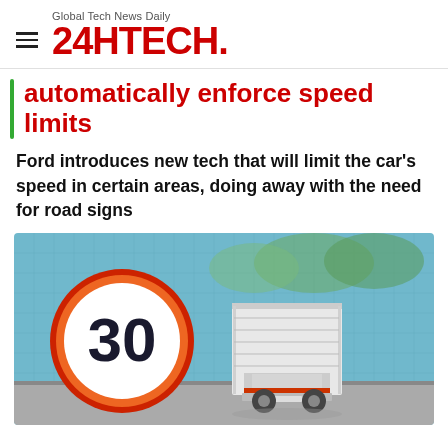Global Tech News Daily 24HTECH.
automatically enforce speed limits
Ford introduces new tech that will limit the car's speed in certain areas, doing away with the need for road signs
[Figure (photo): A delivery truck viewed from behind on a road, next to a large circular speed limit sign showing '30' with a red and orange border, against a blue gridded background with trees visible.]